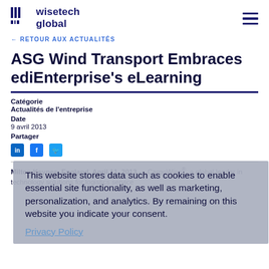WiseTech Global
← RETOUR AUX ACTUALITÉS
ASG Wind Transport Embraces ediEnterprise's eLearning
Catégorie
Actualités de l'entreprise
Date
9 avril 2013
Partager
This website stores data such as cookies to enable essential site functionality, as well as marketing, personalization, and analytics. By remaining on this website you indicate your consent.
Privacy Policy
Milton Keynes, England, April 11, 2013 — CargoWise®, a global leader in technology solutions for logistics service